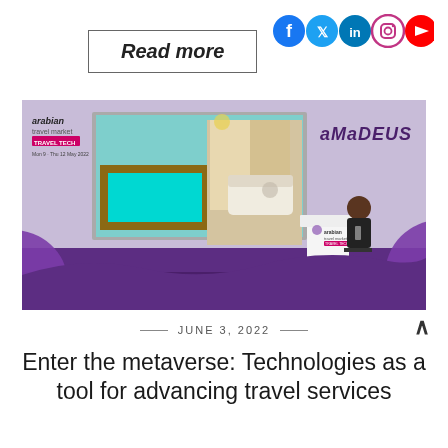Read more
[Figure (illustration): Social media icons: Facebook, Twitter, LinkedIn, Instagram, YouTube]
[Figure (photo): Conference stage at Arabian Travel Market Travel Tech event with a presenter standing at a podium. A large screen shows a VR/metaverse hotel room with a pool table and bed. Amadeus branding visible on the right side of the stage. Purple decorative elements frame the stage.]
JUNE 3, 2022
Enter the metaverse: Technologies as a tool for advancing travel services